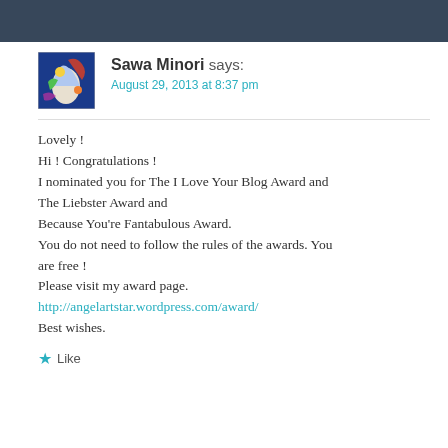[Figure (illustration): Dark navy blue header bar spanning full width]
[Figure (photo): Colorful avatar image of artistic painting with blues, reds, yellows — Sawa Minori profile picture]
Sawa Minori says:
August 29, 2013 at 8:37 pm
Lovely !
Hi ! Congratulations !
I nominated you for The I Love Your Blog Award and The Liebster Award and
Because You're Fantabulous Award.
You do not need to follow the rules of the awards. You are free !
Please visit my award page.
http://angelartstar.wordpress.com/award/
Best wishes.
Like